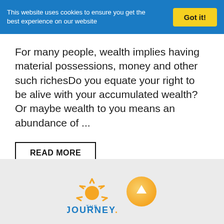This website uses cookies to ensure you get the best experience on our website | Got it!
For many people, wealth implies having material possessions, money and other such richesDo you equate your right to be alive with your accumulated wealth? Or maybe wealth to you means an abundance of ...
READ MORE
[Figure (logo): The Journey logo with orange sun rays icon and blue text reading THE JOURNEY with a period, alongside an orange circular button with an upward arrow]